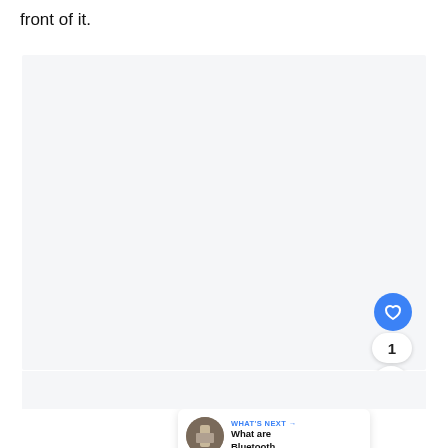front of it.
[Figure (screenshot): Large light gray empty image placeholder box with UI overlay elements: a blue circular like/heart button, a count badge showing '1', a circular share button, and a 'What's Next' card showing 'What are Bluetooth...' with a thumbnail.]